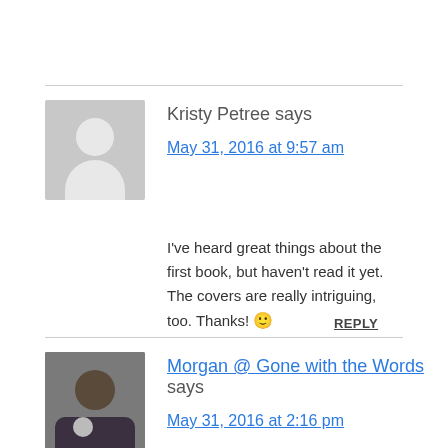Kristy Petree says
May 31, 2016 at 9:57 am
I've heard great things about the first book, but haven't read it yet. The covers are really intriguing, too. Thanks! 🙂
REPLY
Morgan @ Gone with the Words says
May 31, 2016 at 2:16 pm